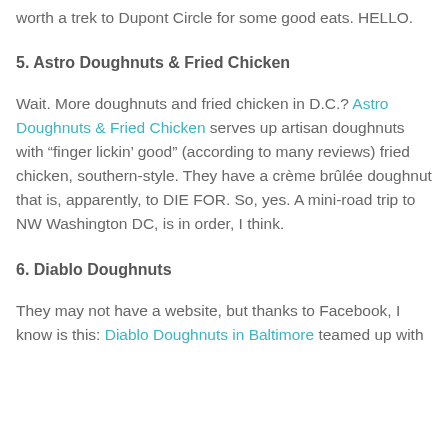worth a trek to Dupont Circle for some good eats. HELLO.
5. Astro Doughnuts & Fried Chicken
Wait. More doughnuts and fried chicken in D.C.? Astro Doughnuts & Fried Chicken serves up artisan doughnuts with “finger lickin’ good” (according to many reviews) fried chicken, southern-style. They have a crème brûlée doughnut that is, apparently, to DIE FOR. So, yes. A mini-road trip to NW Washington DC, is in order, I think.
6. Diablo Doughnuts
They may not have a website, but thanks to Facebook, I know is this: Diablo Doughnuts in Baltimore teamed up with